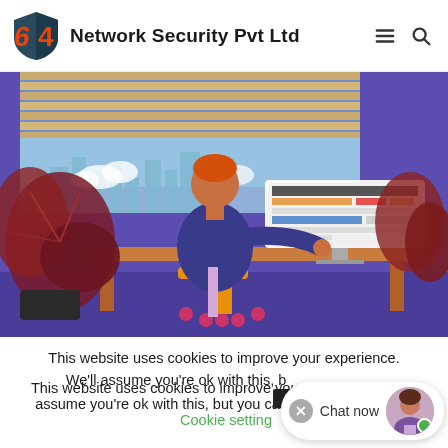Network Security Pvt Ltd
[Figure (illustration): Illustration of a person sitting at a desk working on a computer/laptop in a stylized purple office environment with plants and a window behind them.]
This website uses cookies to improve your experience. We'll assume you're ok with this, but you can opt-out if you wish. Cookie settings ACCEPT